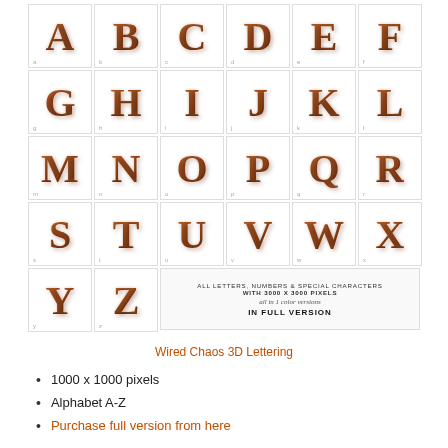[Figure (illustration): Grid of 26 alphabet letters A-Z rendered in a 3D wired chaos brown/copper style lettering on white tile backgrounds, arranged in a 6-column grid with 5 rows plus a partial last row containing Y and Z tiles and an info text box.]
Wired Chaos 3D Lettering
1000 x 1000 pixels
Alphabet A-Z
Purchase full version from here